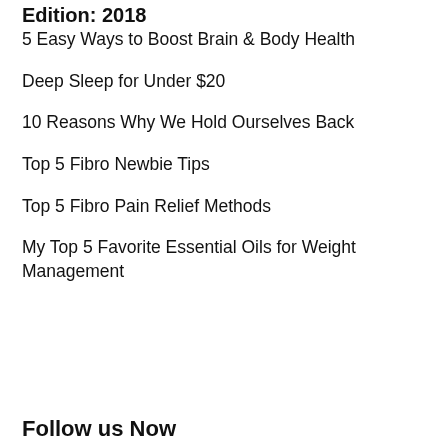Edition: 2018
5 Easy Ways to Boost Brain & Body Health
Deep Sleep for Under $20
10 Reasons Why We Hold Ourselves Back
Top 5 Fibro Newbie Tips
Top 5 Fibro Pain Relief Methods
My Top 5 Favorite Essential Oils for Weight Management
Follow us Now